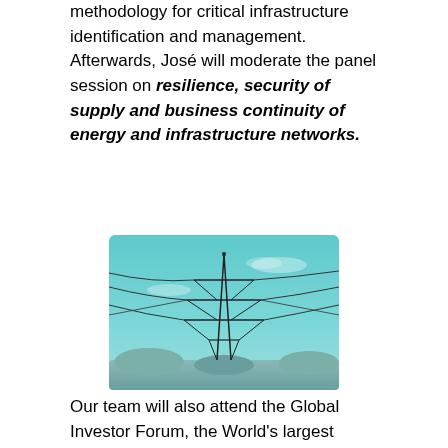methodology for critical infrastructure identification and management. Afterwards, José will moderate the panel session on resilience, security of supply and business continuity of energy and infrastructure networks.
[Figure (photo): A photo of an electrical power transmission tower (pylon) with high-voltage lines against a teal/light blue sky.]
Our team will also attend the Global Investor Forum, the World's largest gathering of institutional capital devoted to infrastructure. Solvere will be part of the Wednesday 20